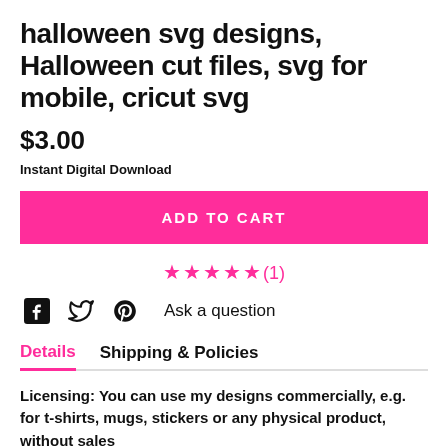halloween svg designs, Halloween cut files, svg for mobile, cricut svg
$3.00
Instant Digital Download
ADD TO CART
★★★★★(1)
Ask a question
Details  Shipping & Policies
Licensing: You can use my designs commercially, e.g. for t-shirts, mugs, stickers or any physical product, without sales